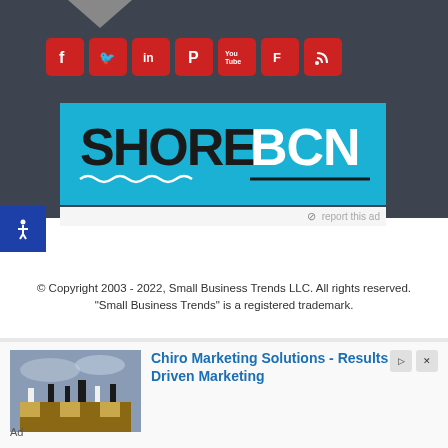[Figure (infographic): Social media icons row: Facebook, Twitter, LinkedIn, Pinterest, YouTube, Flipboard, RSS — all red rounded square icons on dark background]
[Figure (logo): SHORE BCN logo on cyan/teal background — SHORE in black bold, BCN in white bold, with wavy underline beneath SHORE and a straight line beneath BCN]
report this ad
© Copyright 2003 - 2022, Small Business Trends LLC. All rights reserved. "Small Business Trends" is a registered trademark.
[Figure (photo): Chess pieces on a board — black and white chess pieces arranged on a wooden chess board with dramatic sky background]
Chiro Marketing Solutions - Results Driven Marketing
Ad